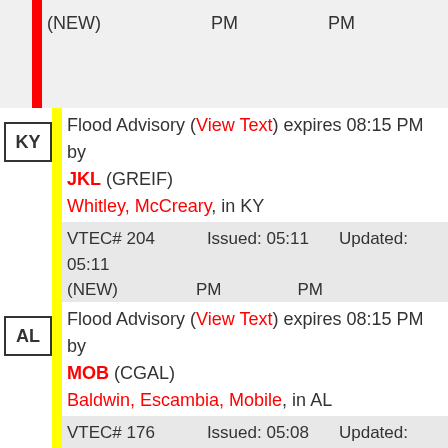(NEW)    PM    PM
KY  Flood Advisory (View Text) expires 08:15 PM by JKL (GREIF)  Whitley, McCreary, in KY  VTEC# 204 (NEW)  Issued: 05:11 PM  Updated: 05:11 PM
AL  Flood Advisory (View Text) expires 08:15 PM by MOB (CGAL)  Baldwin, Escambia, Mobile, in AL  VTEC# 176 (NEW)  Issued: 05:08 PM  Updated: 05:08 PM
FL  Flood Advisory (View Text) expires 08:15 PM by MOB (CGAL)  Escambia, in FL  VTEC# 176  Issued: 05:08  Updated: 05:08